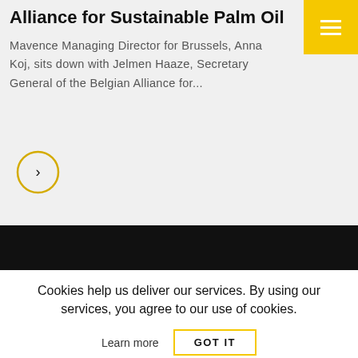Alliance for Sustainable Palm Oil
Mavence Managing Director for Brussels, Anna Koj, sits down with Jelmen Haaze, Secretary General of the Belgian Alliance for...
[Figure (other): Yellow circle with right-pointing arrow chevron, acting as a navigation button]
[Figure (other): Yellow square hamburger menu icon in top-right corner]
Cookies help us deliver our services. By using our services, you agree to our use of cookies.
Learn more
GOT IT